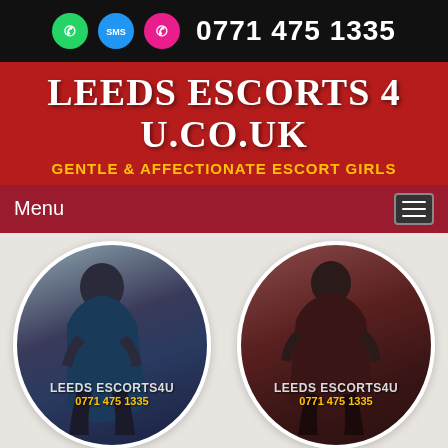0771 475 1335
LEEDS ESCORTS 4 U.CO.UK
GENTLE & AFFECTIONATE ESCORT GIRLS
Menu
[Figure (photo): Circular photo of escort named HONEY, with watermark LEEDS ESCORTS4U 0771 475 1335]
HONEY
22 YEARS OLD
36E
[Figure (photo): Circular photo of escort named JADE, with watermark LEEDS ESCORTS4U 0771 475 1335]
JADE
19 YEARS OLD
32C
View Profile
View Profile
[Figure (photo): Partial circular photo at bottom left]
[Figure (photo): Partial circular photo at bottom right]